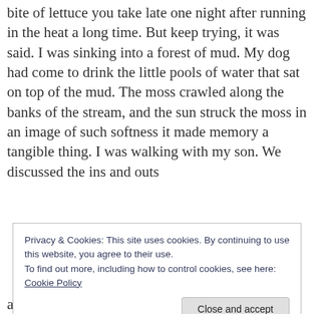bite of lettuce you take late one night after running in the heat a long time. But keep trying, it was said. I was sinking into a forest of mud. My dog had come to drink the little pools of water that sat on top of the mud. The moss crawled along the banks of the stream, and the sun struck the moss in an image of such softness it made memory a tangible thing. I was walking with my son. We discussed the ins and outs
Privacy & Cookies: This site uses cookies. By continuing to use this website, you agree to their use.
To find out more, including how to control cookies, see here: Cookie Policy
and burrow into the scalp